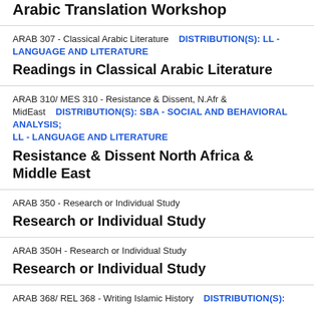Arabic Translation Workshop
ARAB 307 - Classical Arabic Literature   DISTRIBUTION(S): LL - LANGUAGE AND LITERATURE
Readings in Classical Arabic Literature
ARAB 310/ MES 310 - Resistance & Dissent, N.Afr & MidEast   DISTRIBUTION(S): SBA - SOCIAL AND BEHAVIORAL ANALYSIS; LL - LANGUAGE AND LITERATURE
Resistance & Dissent North Africa & Middle East
ARAB 350 - Research or Individual Study
Research or Individual Study
ARAB 350H - Research or Individual Study
Research or Individual Study
ARAB 368/ REL 368 - Writing Islamic History   DISTRIBUTION(S):